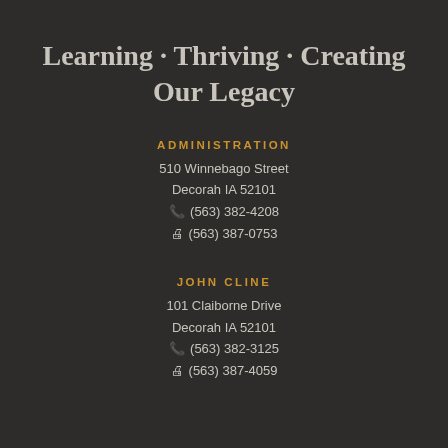Learning · Thriving · Creating Our Legacy
ADMINISTRATION
510 Winnebago Street
Decorah IA 52101
☎ (563) 382-4208
🖨 (563) 387-0753
JOHN CLINE
101 Claiborne Drive
Decorah IA 52101
☎ (563) 382-3125
🖨 (563) 387-4059